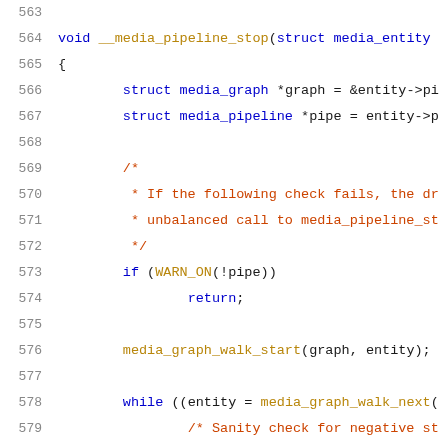[Figure (screenshot): Source code listing in C, lines 563-584, showing __media_pipeline_stop function implementation with syntax highlighting. Line numbers in gray on left, keywords in blue, comments in red/orange, function calls in dark yellow.]